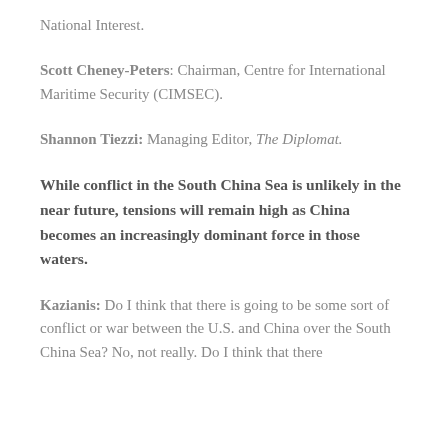National Interest.
Scott Cheney-Peters: Chairman, Centre for International Maritime Security (CIMSEC).
Shannon Tiezzi: Managing Editor, The Diplomat.
While conflict in the South China Sea is unlikely in the near future, tensions will remain high as China becomes an increasingly dominant force in those waters.
Kazianis: Do I think that there is going to be some sort of conflict or war between the U.S. and China over the South China Sea? No, not really. Do I think that there